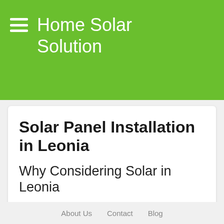Home Solar Solution
Solar Panel Installation in Leonia
Why Considering Solar in Leonia
Saving the environment and cutting utility bills are some of the main reasons homeowners prefer solar power. Solar energy is a great way to enhance home efficiency
About Us   Contact   Blog